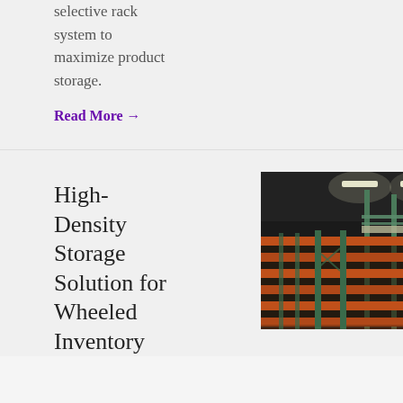selective rack system to maximize product storage.
Read More →
High-Density Storage Solution for Wheeled Inventory
[Figure (photo): Interior of a warehouse showing multi-level orange metal pallet racking systems with green support columns and overhead fluorescent lighting, viewed from ground level.]